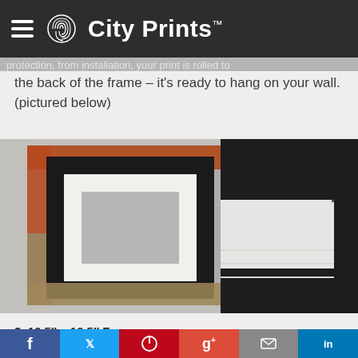City Prints™
the back of the frame – it's ready to hang on your wall. (pictured below)
[Figure (photo): Two photos side by side: left photo shows a person holding a large black-framed print with white mat and gray image area; right photo shows a close-up detail of the black frame corner against a white wall.]
2. 16.5″ x 16.5″ Frame
Our 16.5″ x 16.5″ frames have a black 2.75″ wide heavy